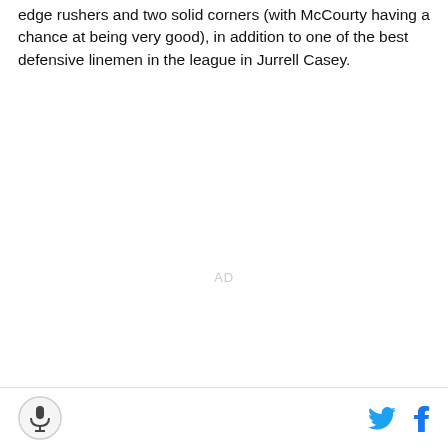edge rushers and two solid corners (with McCourty having a chance at being very good), in addition to one of the best defensive linemen in the league in Jurrell Casey.
[Figure (other): AD placeholder text in light gray]
Site logo icon, Twitter bird icon, Facebook f icon